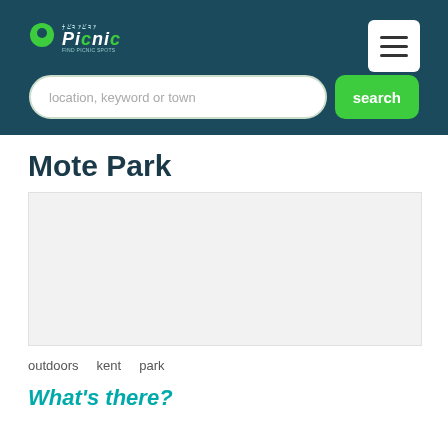Picnic - location, keyword or town - search
Mote Park
[Figure (photo): Photo placeholder area for Mote Park]
outdoors   kent   park
What's there?